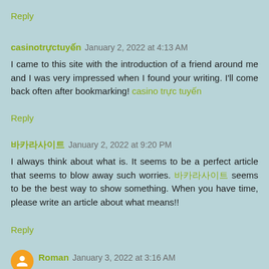Reply
casinotrựctuyến January 2, 2022 at 4:13 AM
I came to this site with the introduction of a friend around me and I was very impressed when I found your writing. I'll come back often after bookmarking! casino trực tuyến
Reply
바카라사이트 January 2, 2022 at 9:20 PM
I always think about what is. It seems to be a perfect article that seems to blow away such worries. 바카라사이트 seems to be the best way to show something. When you have time, please write an article about what means!!
Reply
Roman January 3, 2022 at 3:16 AM
Hi thought I know this is kind of off topic but I was wondering if the...